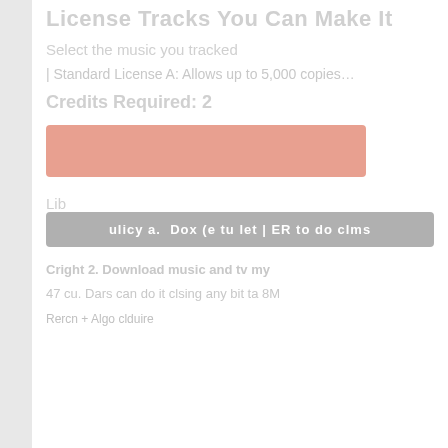License Tracks You Can Make It
Select the music you tracked
| Standard License A: Allows up to 5,000 copies…
Credits Required: 2
[Figure (infographic): A horizontal slider bar colored red/salmon with a dot marker and labels 'save' and 'mp3' to the right]
Lib
| ulicy a. Dox (e tu let | ER to do clms |
Cright 2. Download music and tv my
47 cu. Dars can do it clsing any bit ta 8M
Rercn + Algo clduire